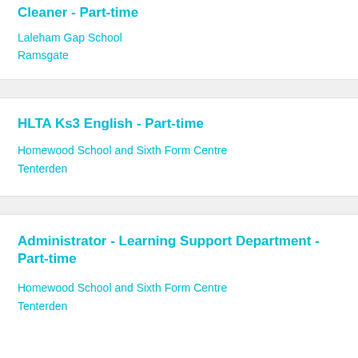Cleaner - Part-time
Laleham Gap School
Ramsgate
HLTA Ks3 English - Part-time
Homewood School and Sixth Form Centre
Tenterden
Administrator - Learning Support Department - Part-time
Homewood School and Sixth Form Centre
Tenterden